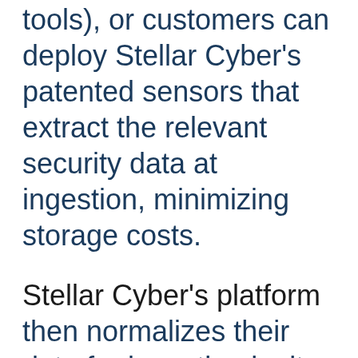tools), or customers can deploy Stellar Cyber's patented sensors that extract the relevant security data at ingestion, minimizing storage costs.
Stellar Cyber's platform then normalizes their data for ingestion by its AI engine and automatically correlates that data to spot breaches that might go unnoticed in security systems that require manual correlation of